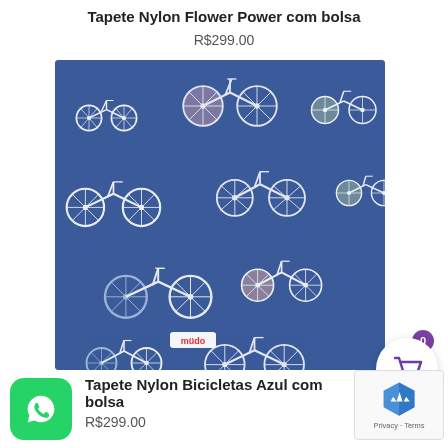Tapete Nylon Flower Power com bolsa
R$299.00
[Figure (photo): Blue nylon mat with bicycle pattern design, folded corner showing fabric, with a small brand label 'mudo' visible]
Tapete Nylon Bicicletas Azul com bolsa
R$299.00